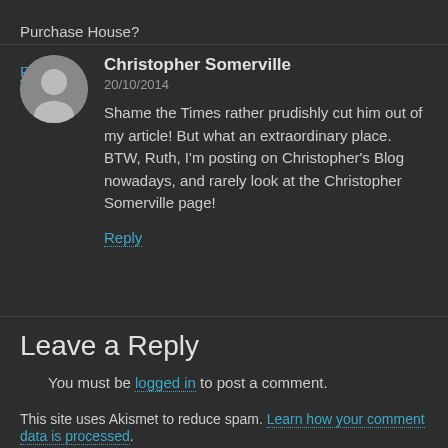Purchase House?
Reply
Christopher Somerville
20/10/2014
Shame the Times rather prudishly cut him out of my article! But what an extraordinary place. BTW, Ruth, I'm posting on Christopher's Blog nowadays, and rarely look at the Christopher Somerville page!
Reply
Leave a Reply
You must be logged in to post a comment.
This site uses Akismet to reduce spam. Learn how your comment data is processed.